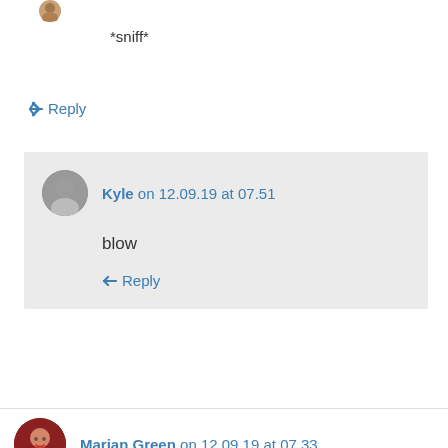[Figure (photo): Partial circular avatar image at top left, cropped]
*sniff*
↳ Reply
[Figure (photo): Small circular avatar of Kyle]
Kyle on 12.09.19 at 07.51
blow
↳ Reply
[Figure (photo): Circular avatar of Marian Green]
Marian Green on 12.09.19 at 07.33
Kyle, this was incredible. Some of the best stuff you have ever written that I have read. You left my heart pounding.
↳ Reply